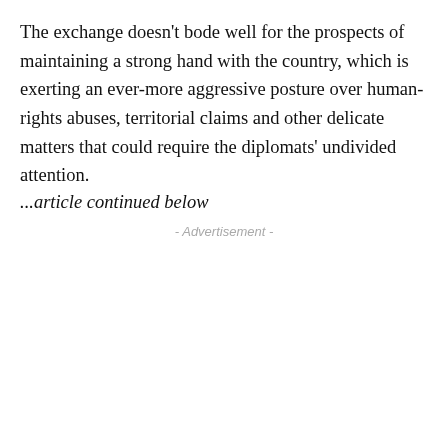The exchange doesn't bode well for the prospects of maintaining a strong hand with the country, which is exerting an ever-more aggressive posture over human-rights abuses, territorial claims and other delicate matters that could require the diplomats' undivided attention.
...article continued below
- Advertisement -